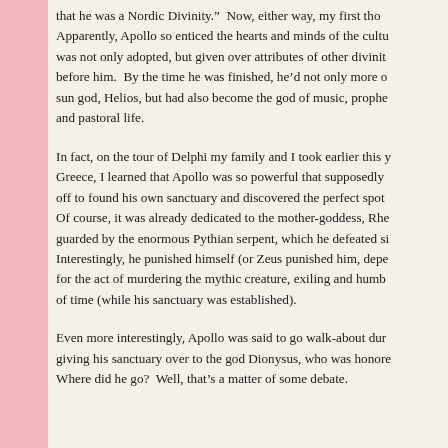that he was a Nordic Divinity.”  Now, either way, my first tho Apparently, Apollo so enticed the hearts and minds of the cultu was not only adopted, but given over attributes of other divinit before him.  By the time he was finished, he’d not only more o sun god, Helios, but had also become the god of music, prophe and pastoral life.
In fact, on the tour of Delphi my family and I took earlier this y Greece, I learned that Apollo was so powerful that supposedly off to found his own sanctuary and discovered the perfect spot Of course, it was already dedicated to the mother-goddess, Rhe guarded by the enormous Pythian serpent, which he defeated si Interestingly, he punished himself (or Zeus punished him, depe for the act of murdering the mythic creature, exiling and humb of time (while his sanctuary was established).
Even more interestingly, Apollo was said to go walk-about dur giving his sanctuary over to the god Dionysus, who was honore Where did he go?  Well, that’s a matter of some debate.